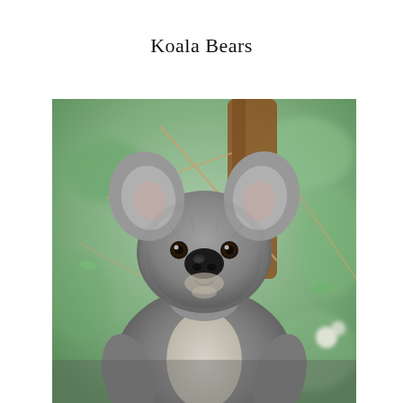Koala Bears
[Figure (photo): Close-up photograph of a koala bear facing the camera, with large fluffy ears, a prominent black nose, and grey fur with a lighter chest. The koala is perched among eucalyptus branches with a blurred green background.]